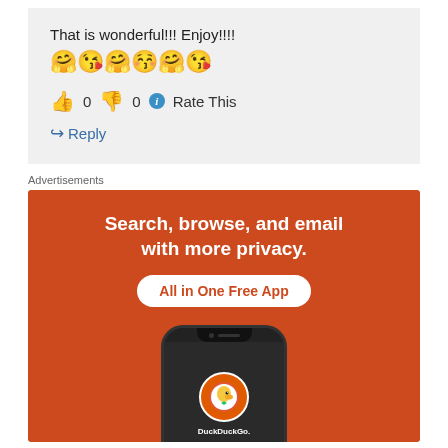That is wonderful!!! Enjoy!!!!
🤗😘🤗😚🤗😘
👍 0 👎 0 ℹ Rate This
↪ Reply
Advertisements
[Figure (infographic): DuckDuckGo advertisement: orange background with text 'Search, browse, and email with more privacy. All in One Free App' and a phone showing DuckDuckGo logo.]